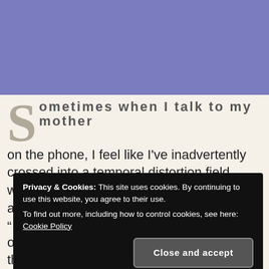[Figure (other): Blue/purple banner image occupying top portion of page]
Sometimes when I talk to my mother on the phone, I feel like I've inadvertently crossed into a temporal distortion field where time passes slower for me than the actual time would indicate.  Today, the e... "... m... w...
[Figure (screenshot): Cookie consent overlay popup with text: Privacy & Cookies: This site uses cookies. By continuing to use this website, you agree to their use. To find out more, including how to control cookies, see here: Cookie Policy. With a 'Close and accept' button.]
of the work done to date, from the doors to the floor